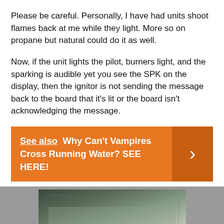Please be careful. Personally, I have had units shoot flames back at me while they light. More so on propane but natural could do it as well.
Now, if the unit lights the pilot, burners light, and the sparking is audible yet you see the SPK on the display, then the ignitor is not sending the message back to the board that it’s lit or the board isn’t acknowledging the message.
See also  Why Can't Vampires Cross Running Water? SEE HERE!
[Figure (photo): A green-tinted rectangular object photographed against a light background, partially visible at the bottom of the page.]